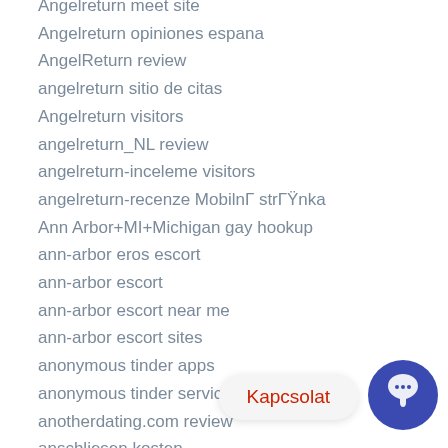Angelreturn meet site
Angelreturn opiniones espana
AngelReturn review
angelreturn sitio de citas
Angelreturn visitors
angelreturn_NL review
angelreturn-inceleme visitors
angelreturn-recenze Mobilní strĹŻnka
Ann Arbor+MI+Michigan gay hookup
ann-arbor eros escort
ann-arbor escort
ann-arbor escort near me
ann-arbor escort sites
anonymous tinder apps
anonymous tinder services
anotherdating.com review
anschliesen kosten
anschliesen visitors
antichat de review
antichat de reviews